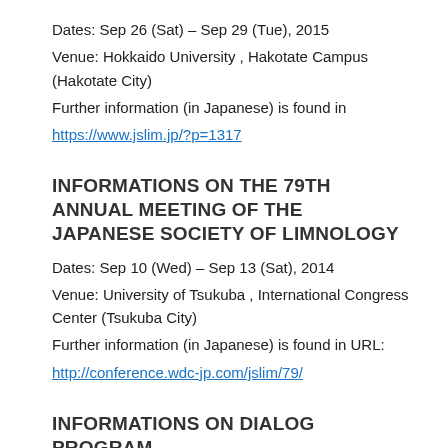Dates: Sep 26 (Sat) – Sep 29 (Tue), 2015
Venue: Hokkaido University , Hakotate Campus (Hakotate City)
Further information (in Japanese) is found in
https://www.jslim.jp/?p=1317
INFORMATIONS ON THE 79TH ANNUAL MEETING OF THE JAPANESE SOCIETY OF LIMNOLOGY
Dates: Sep 10 (Wed) – Sep 13 (Sat), 2014
Venue: University of Tsukuba , International Congress Center (Tsukuba City)
Further information (in Japanese) is found in URL:
http://conference.wdc-jp.com/jslim/79/
INFORMATIONS ON DIALOG PROGRAM
DIALOG (the Dissertations Initiative for the Advancement of Limnology and Oceano graphy) is a program for recent Ph.D.